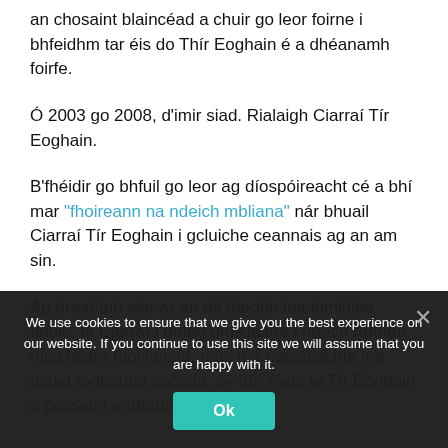an chosaint blaincéad a chuir go leor foirne i bhfeidhm tar éis do Thír Eoghain é a dhéanamh foirfe.
Ó 2003 go 2008, d'imir siad. Rialaigh Ciarraí Tír Eoghain.
B'fhéidir go bhfuil go leor ag díospóireacht cé a bhí mar "fhoireann na ndeich mbliana" nár bhuail Ciarraí Tír Eoghain i gcluiche ceannais ag an am sin.
Ag breathnú siar ar an dá thaobh ina iomláine anois, tá Ciarraí i bhfad níos láidre i ngach rannán, níos láidre faoi ionsaí, níos mó éagsúlachta ina gcuid roghanna scórála, cé gur féidir le Tír Eoghain a gcosaint a ghortú.
We use cookies to ensure that we give you the best experience on our website. If you continue to use this site we will assume that you are happy with it.